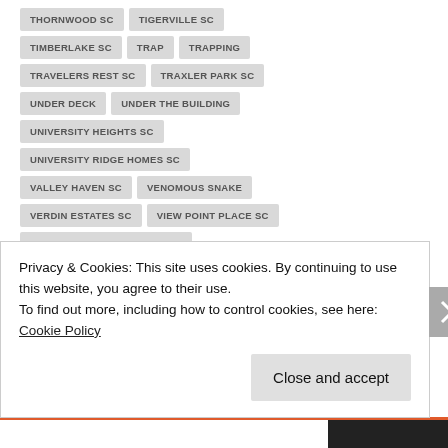THORNWOOD SC
TIGERVILLE SC
TIMBERLAKE SC
TRAP
TRAPPING
TRAVELERS REST SC
TRAXLER PARK SC
UNDER DECK
UNDER THE BUILDING
UNIVERSITY HEIGHTS SC
UNIVERSITY RIDGE HOMES SC
VALLEY HAVEN SC
VENOMOUS SNAKE
VERDIN ESTATES SC
VIEW POINT PLACE SC
WADE HAMPTON GARDENS SC
WADE HAMPTON SC
WALDEN POND SC
Privacy & Cookies: This site uses cookies. By continuing to use this website, you agree to their use.
To find out more, including how to control cookies, see here: Cookie Policy
Close and accept